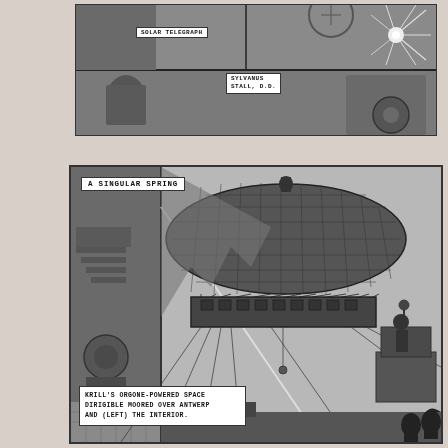[Figure (illustration): Top comic panel strip showing two scenes: left scene with figures near a 'SOLAR TELEGRAPH' device, right scene with a bright starburst light effect. A second sub-panel below shows a person labeled 'SYLVANUS STALL, D.D.']
[Figure (illustration): Large comic panel titled 'A SINGULAR SPRING' showing Krill's orgone-powered space dirigible (large balloon-like airship with net covering) moored over Antwerp, with gondola suspended beneath by cables, figure on right rooftop pedestal, and interior scene visible on left side. Caption reads: 'KRILL'S ORGONE-POWERED SPACE DIRIGIBLE MOORED OVER ANTWERP AND (LEFT) THE INTERIOR.']